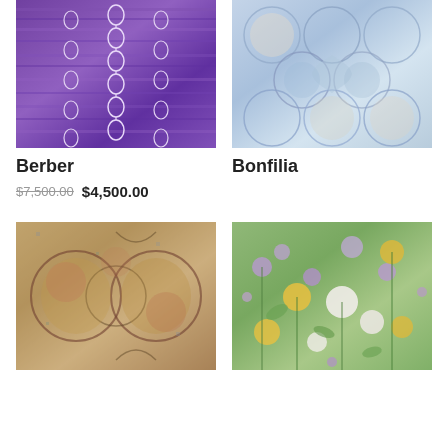[Figure (photo): Purple/violet rug with white geometric chain pattern - Berber rug]
[Figure (photo): Blue and cream floral/geometric patterned rug - Bonfilia rug]
Berber
Bonfilia
$7,500.00 $4,500.00
[Figure (photo): Vintage/distressed medallion patterned rug in earth tones - third rug]
[Figure (photo): Floral garden patterned rug with purple and yellow flowers on green background - fourth rug]